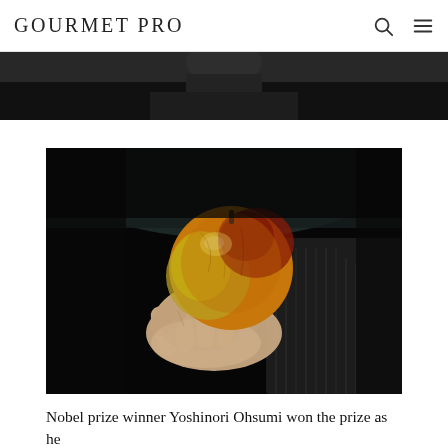GOURMET PRO
[Figure (photo): Partial photo strip at top of page showing a person in dark clothing, cropped tightly — visible from mid-torso with dark background, continuation of hero image.]
[Figure (photo): A hand holding a red and yellow apple against a dark background. The person is wearing a dark knit sweater. The apple is in focus, lit warmly against a black background.]
Nobel prize winner Yoshinori Ohsumi won the prize as he